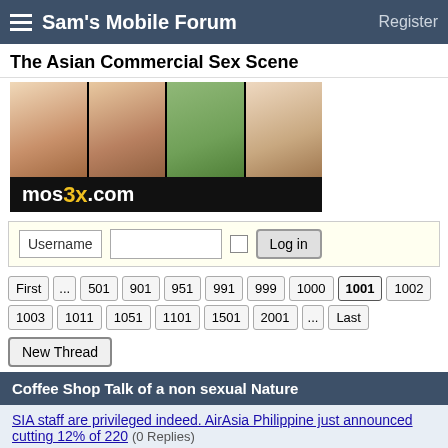Sam's Mobile Forum  Register
The Asian Commercial Sex Scene
[Figure (photo): Banner image for mos3x.com showing four women]
Username  Log in
First ... 501 901 951 991 999 1000 1001 1002 1003 1011 1051 1101 1501 2001 ... Last
New Thread
Coffee Shop Talk of a non sexual Nature
SIA staff are privileged indeed. AirAsia Philippine just announced cutting 12% of 220 (0 Replies)
Last Post: Sammyboy RSS Feed, 06-06-2020 12:40 PM
Ben Leong's moment of wrong teaching (0 Replies)
Last Post: Sammyboy RSS Feed, 06-06-2020 11:40 AM
[Music & trend] Most lianbeng started y2k (0 Replies)
Last Post: Sammyboy RSS Feed, 06-06-2020 11:20 AM